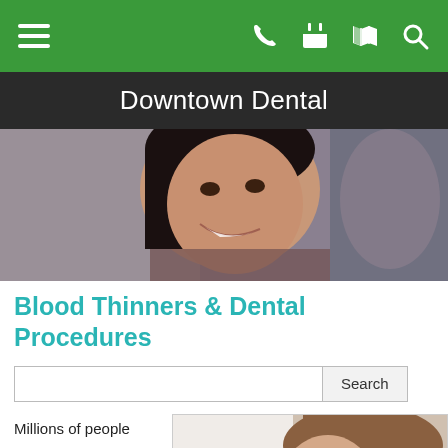Downtown Dental
[Figure (photo): Smiling woman with dark hair, closeup portrait photo used as hero banner]
Blood Thinners & Dental Procedures
Millions of people
[Figure (photo): Side profile of a woman with short brown hair, eyes closed]